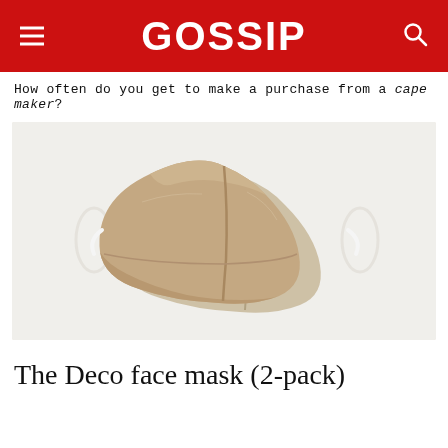GOSSIP
How often do you get to make a purchase from a cape maker?
[Figure (photo): Two beige/tan fabric face masks with ear loops, displayed on a white background. The masks are 3D shaped with a center seam, shown stacked slightly offset.]
The Deco face mask (2-pack)